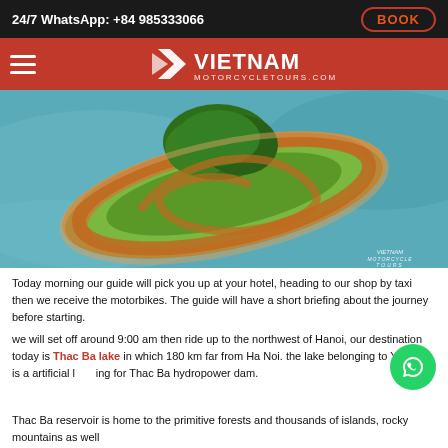24/7 WhatsApp: +84 985333066   BOOK
[Figure (logo): Vietnam Motorcycle Tours logo on red navigation bar with hamburger menu]
[Figure (photo): Aerial drone view of a small island with red dirt road spiraling around trees in a lake]
Today morning our guide will pick you up at your hotel, heading to our shop by taxi then we receive the motorbikes. The guide will have a short briefing about the journey before starting.
we will set off around 9:00 am then ride up to the northwest of Hanoi, our destination today is Thac Ba lake in which 180 km far from Ha Noi. the lake belonging to Yen Bai is a artificial lake for Thac Ba hydropower dam.
Thac Ba reservoir is home to the primitive forests and thousands of islands, rocky mountains as well